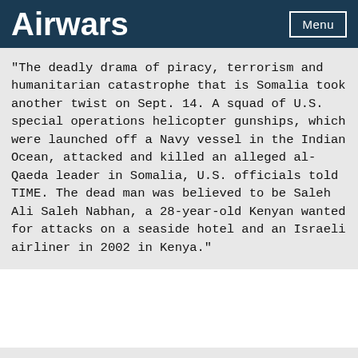Airwars
"The deadly drama of piracy, terrorism and humanitarian catastrophe that is Somalia took another twist on Sept. 14. A squad of U.S. special operations helicopter gunships, which were launched off a Navy vessel in the Indian Ocean, attacked and killed an alleged al-Qaeda leader in Somalia, U.S. officials told TIME. The dead man was believed to be Saleh Ali Saleh Nabhan, a 28-year-old Kenyan wanted for attacks on a seaside hotel and an Israeli airliner in 2002 in Kenya."
INCIDENT CODE
USS0M006-C
INCIDENT DATE
PREVIOUS CODE
SOM006
LOCATION